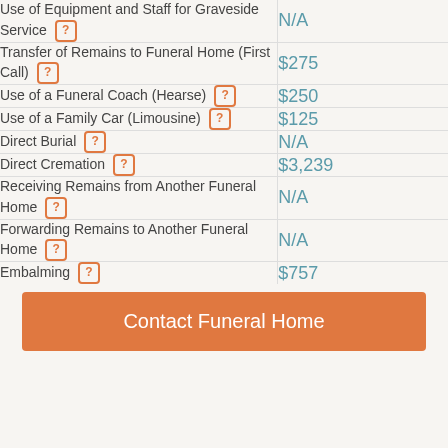| Service | Price |
| --- | --- |
| Use of Equipment and Staff for Graveside Service | N/A |
| Transfer of Remains to Funeral Home (First Call) | $275 |
| Use of a Funeral Coach (Hearse) | $250 |
| Use of a Family Car (Limousine) | $125 |
| Direct Burial | N/A |
| Direct Cremation | $3,239 |
| Receiving Remains from Another Funeral Home | N/A |
| Forwarding Remains to Another Funeral Home | N/A |
| Embalming | $757 |
Contact Funeral Home